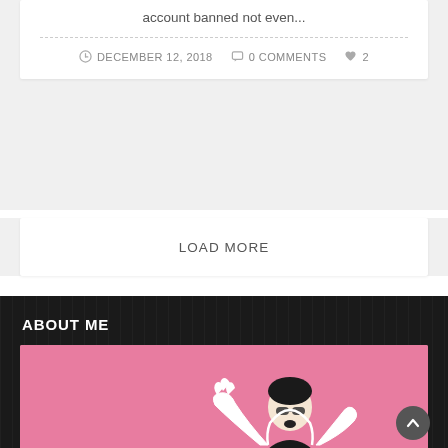account banned not even...
DECEMBER 12, 2018  •  0 COMMENTS  •  ♥ 2
LOAD MORE
ABOUT ME
[Figure (photo): Person in black jacket and sunglasses on a pink background, posed with hands raised expressively]